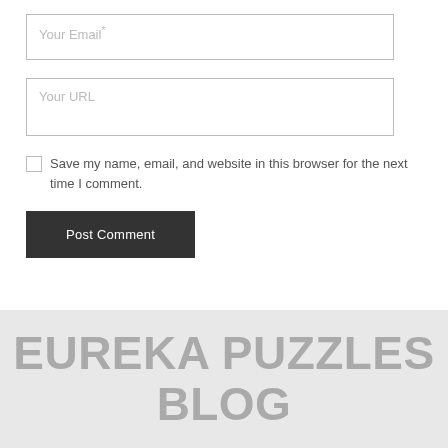Your Email*
Your URL
Save my name, email, and website in this browser for the next time I comment.
Post Comment
EUREKA PUZZLES BLOG